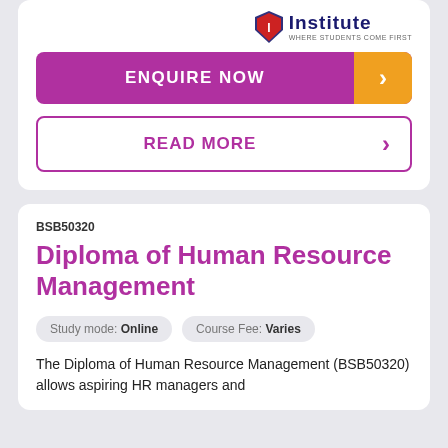[Figure (logo): Institute logo with shield/eagle and text 'Institute WHERE STUDENTS COME FIRST']
ENQUIRE NOW
READ MORE
BSB50320
Diploma of Human Resource Management
Study mode: Online
Course Fee: Varies
The Diploma of Human Resource Management (BSB50320) allows aspiring HR managers and